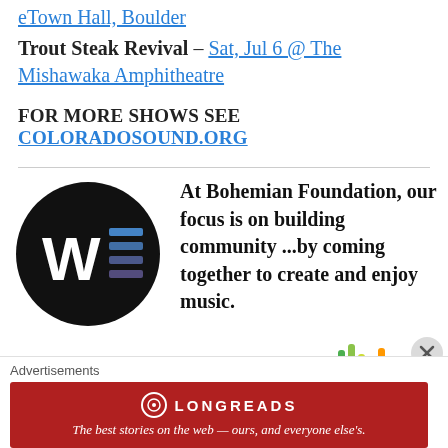eTown Hall, Boulder
Trout Steak Revival – Sat, Jul 6 @ The Mishawaka Amphitheatre
FOR MORE SHOWS SEE COLORADOSOUND.ORG
[Figure (logo): Black circle logo with white W and blue horizontal stripes on the right side]
At Bohemian Foundation, our focus is on building community ...by coming together to create and enjoy music.
THE ARMORY
[Figure (logo): Colorful sound wave bars in rainbow colors (blue, green, yellow, orange, red)]
Advertisements
[Figure (screenshot): Longreads advertisement banner in red: 'The best stories on the web — ours, and everyone else's.']